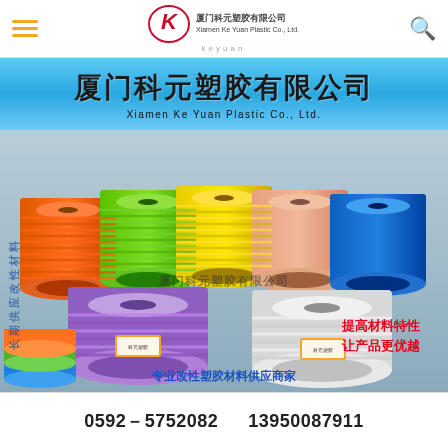厦门科元塑胶有限公司 Xiamen Ke Yuan Plastic Co., Ltd.
厦门科元塑胶有限公司
Xiamen Ke Yuan Plastic Co., Ltd.
[Figure (photo): Multiple colorful spools of plastic tubing (orange, green, yellow, peach/pink, blue, purple, white/clear) stacked and arranged, branded with Xiamen Ke Yuan Plastic Co., Ltd. watermark. Vertical text overlay on left side in blue. Red text overlay bottom-right reading '提高材料特性 让产品更优越'. Blue text overlay at bottom reading '专业改性塑胶材料供应商家'.]
0592－5752082    13950087911